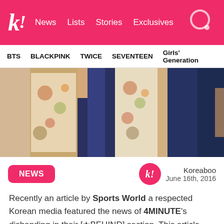k! News Lists Stories Exclusives
BTS BLACKPINK TWICE SEVENTEEN Girls' Generation
[Figure (photo): Photo strip showing close-up shots of multiple people wearing patterned and dark clothing]
NEWS
Koreaboo
June 16th, 2016
Recently an article by Sports World a respected Korean media featured the news of 4MINUTE's disbanding in their [★BEHIND] section. This article discussed the truth behind their disbandment.
The article states that iHQ was the reason